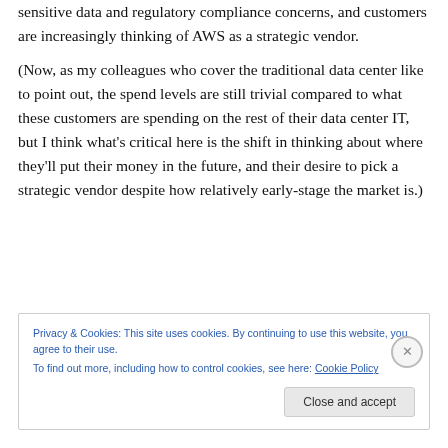sensitive data and regulatory compliance concerns, and customers are increasingly thinking of AWS as a strategic vendor.
(Now, as my colleagues who cover the traditional data center like to point out, the spend levels are still trivial compared to what these customers are spending on the rest of their data center IT, but I think what's critical here is the shift in thinking about where they'll put their money in the future, and their desire to pick a strategic vendor despite how relatively early-stage the market is.)
Privacy & Cookies: This site uses cookies. By continuing to use this website, you agree to their use. To find out more, including how to control cookies, see here: Cookie Policy